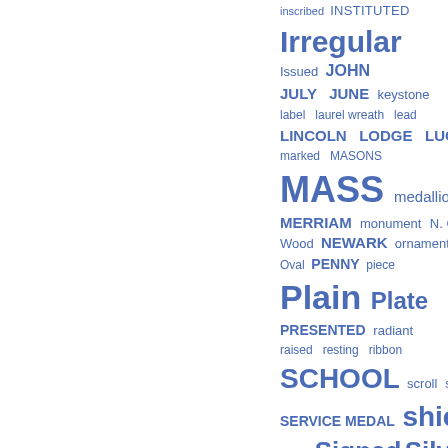[Figure (infographic): Tag cloud / word cloud showing various terms in different sizes and shades of blue, displayed on the right half of the page. Terms include: inscribed, INSTITUTED, Irregular, Issued, JOHN, JULY, JUNE, keystone, label, laurel wreath, lead, LINCOLN, LODGE, LUCK, marked, MASONS, MASS, medallion, MERRIAM, monument, N. G. Wood, NEWARK, ornament, Oval, PENNY, piece, Plain, Plate, PRESENTED, radiant, raised, resting, ribbon, SCHOOL, scroll, seal, SERVICE MEDAL, shield, sides, Signed, Silver, SOCIETY, SOUVENIR, SPRINGFIELD, square]